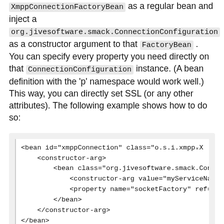XmppConnectionFactoryBean as a regular bean and inject a org.jivesoftware.smack.ConnectionConfiguration as a constructor argument to that FactoryBean . You can specify every property you need directly on that ConnectionConfiguration instance. (A bean definition with the 'p' namespace would work well.) This way, you can directly set SSL (or any other attributes). The following example shows how to do so:
[Figure (screenshot): Code block showing XML Spring bean configuration with xmppConnection bean, constructor-arg, nested bean for org.jivesoftware.smack.ConnectionConfiguration, constructor-arg with myServiceName value, property name socketFactory ref, closing tags, and int:channel id outboundEventChannel]